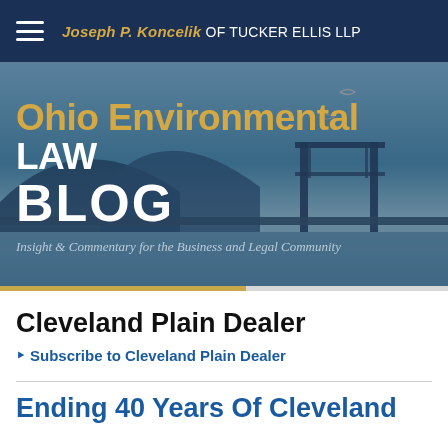Joseph P. Koncelik OF TUCKER ELLIS LLP
[Figure (illustration): Ohio Environmental Law Blog hero banner with bridge background image, showing 'Ohio Environmental LAW BLOG' text and subtitle 'Insight & Commentary for the Business and Legal Community']
Cleveland Plain Dealer
Subscribe to Cleveland Plain Dealer
Ending 40 Years Of Cleveland